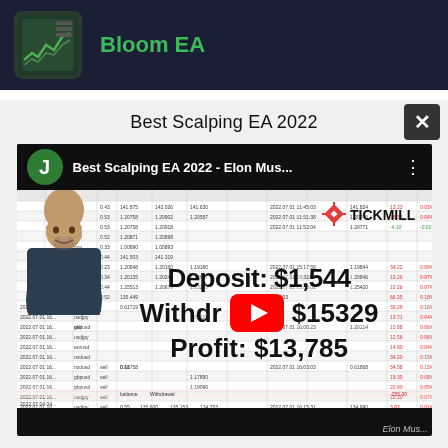[Figure (logo): Bloom EA app logo icon - green trading chart icon on dark background]
Bloom EA
Best Scalping EA 2022
[Figure (screenshot): YouTube video thumbnail showing 'Best Scalping EA 2022 - Elon Mus...' with a trading spreadsheet background, Tickmill logo, person photo, and overlay text showing Deposit: $1,544, Withdrawal: $15329, Profit: $13,785]
Deposit: $1,544 Withdrawal: $15329 Profit: $13,785